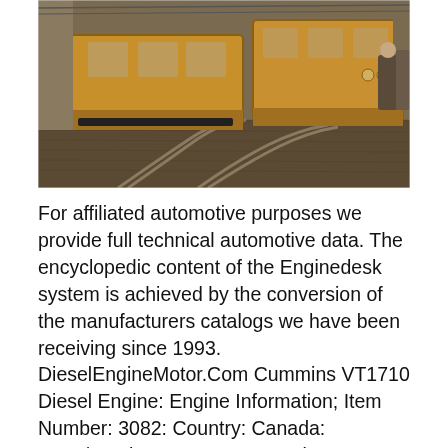[Figure (photo): Street scene with two yellow trams/trolleys on cobblestone tracks, with people visible on the right side]
For affiliated automotive purposes we provide full technical automotive data. The encyclopedic content of the Enginedesk system is achieved by the conversion of the manufacturers catalogs we have been receiving since 1993. DieselEngineMotor.Com Cummins VT1710 Diesel Engine: Engine Information; Item Number: 3082: Country: Canada: State/Province: Inventory Number Cummins VTA-1710-M2, Marine Diesel Engine , 800 BHP. Model: VTA-1710-M2. Serial Number 37104144. Configuration No: